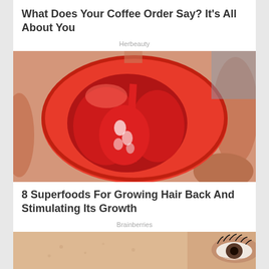What Does Your Coffee Order Say? It's All About You
Herbeauty
[Figure (photo): A hand holding a red bell pepper cut in half cross-section, showing the inner chambers and seeds.]
8 Superfoods For Growing Hair Back And Stimulating Its Growth
Brainberries
[Figure (photo): Close-up of a person's face showing skin texture near the eye with eyelashes visible on the right.]